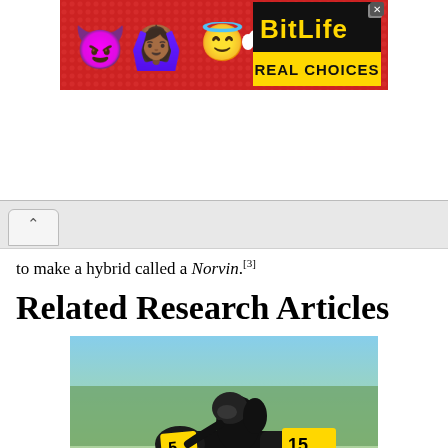[Figure (screenshot): BitLife mobile game advertisement banner with emoji characters (devil, woman, angel) on a red background, with 'BitLife REAL CHOICES' logo in black and yellow]
to make a hybrid called a Norvin.[3]
Related Research Articles
[Figure (photo): A motorcycle racer wearing black leather suit and helmet riding a black racing motorcycle with number 15 on a racetrack]
The Norton Motorcycle Company